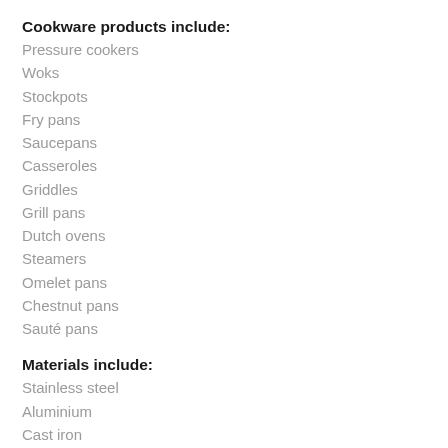Cookware products include:
Pressure cookers
Woks
Stockpots
Fry pans
Saucepans
Casseroles
Griddles
Grill pans
Dutch ovens
Steamers
Omelet pans
Chestnut pans
Sauté pans
Materials include:
Stainless steel
Aluminium
Cast iron
Copper
Nonstick coatings
There is no standard definition for premium cookware